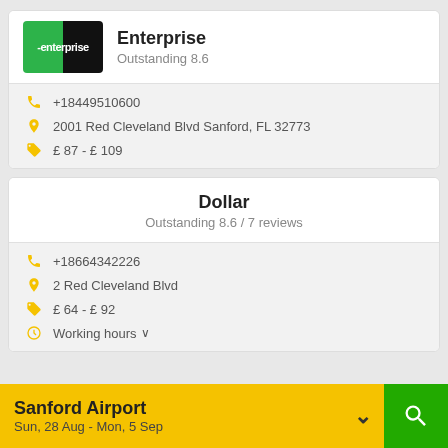[Figure (logo): Enterprise car rental logo - green and black rectangular logo with white text]
Enterprise
Outstanding 8.6
+18449510600
2001 Red Cleveland Blvd Sanford, FL 32773
£ 87 - £ 109
Dollar
Outstanding 8.6 / 7 reviews
+18664342226
2 Red Cleveland Blvd
£ 64 - £ 92
Working hours ∨
Sanford Airport
Sun, 28 Aug - Mon, 5 Sep